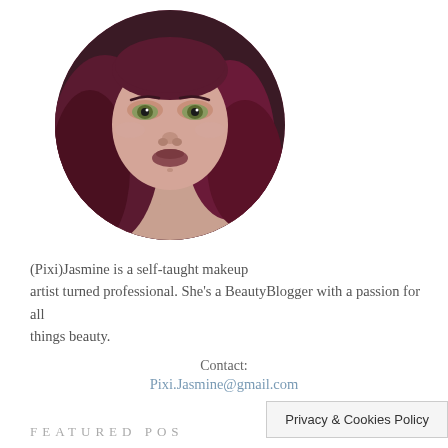[Figure (photo): Circular profile photo of a woman with dark reddish-purple hair, green eyes, and makeup, shown from shoulders up against a dark background.]
(Pixi)Jasmine is a self-taught makeup artist turned professional. She's a BeautyBlogger with a passion for all things beauty.
Contact:
Pixi.Jasmine@gmail.com
FEATURED POS